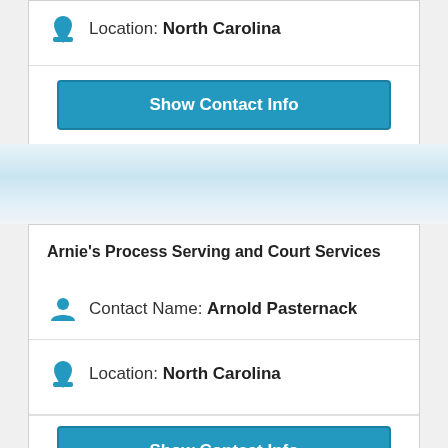Location: North Carolina
Show Contact Info
Arnie's Process Serving and Court Services
Contact Name: Arnold Pasternack
Location: North Carolina
Show Contact Info